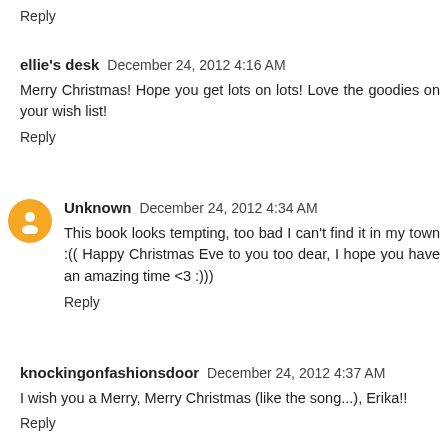Reply
ellie's desk  December 24, 2012 4:16 AM
Merry Christmas! Hope you get lots on lots! Love the goodies on your wish list!
Reply
Unknown  December 24, 2012 4:34 AM
This book looks tempting, too bad I can't find it in my town :((  Happy Christmas Eve to you too dear, I hope you have an amazing time <3 :)))
Reply
knockingonfashionsdoor  December 24, 2012 4:37 AM
I wish you a Merry, Merry Christmas (like the song...), Erika!!
Reply